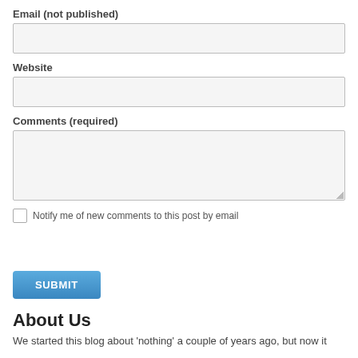Email (not published)
[Figure (other): Empty text input field for email]
Website
[Figure (other): Empty text input field for website]
Comments (required)
[Figure (other): Empty textarea for comments with resize handle]
Notify me of new comments to this post by email
[Figure (other): Submit button with blue gradient background]
About Us
We started this blog about 'nothing' a couple of years ago, but now it